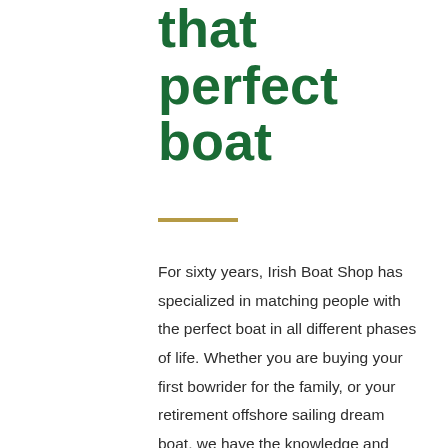that perfect boat
For sixty years, Irish Boat Shop has specialized in matching people with the perfect boat in all different phases of life. Whether you are buying your first bowrider for the family, or your retirement offshore sailing dream boat, we have the knowledge and resources to find exactly what you're looking for. We sell new and used boats in Harbor Springs, Charlevoix, and Traverse City, Michigan. We service everything we sell and offer dockage, storage, parts and accessories. Come see